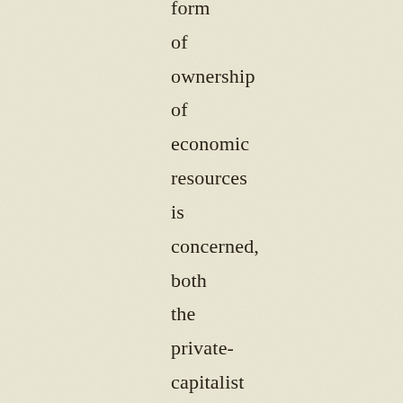form of ownership of economic resources is concerned, both the private-capitalist and the state-socialist forms of ownership lead to the pursuit